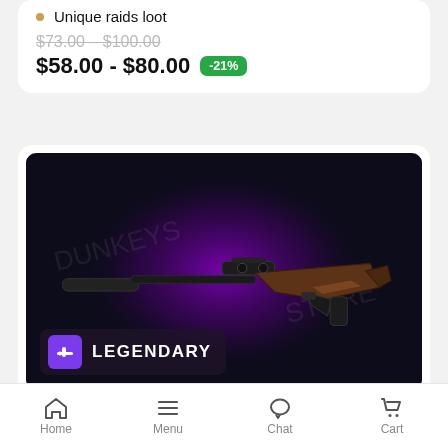Unique raids loot
$73.00 – $100.00 (strikethrough)
$58.00 - $80.00  -21%
[Figure (photo): A legendary kinetic sniper rifle with scope and suppressor on a dark background with purple glow, labeled LEGENDARY]
SERVANT LEADER LEGENDARY KINETIC
Home  Menu  Chat  Cart